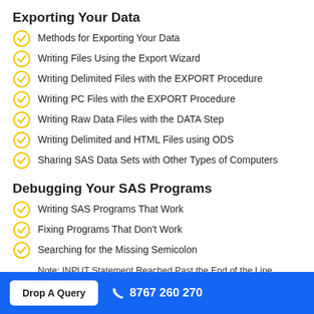Exporting Your Data
Methods for Exporting Your Data
Writing Files Using the Export Wizard
Writing Delimited Files with the EXPORT Procedure
Writing PC Files with the EXPORT Procedure
Writing Raw Data Files with the DATA Step
Writing Delimited and HTML Files using ODS
Sharing SAS Data Sets with Other Types of Computers
Debugging Your SAS Programs
Writing SAS Programs That Work
Fixing Programs That Don't Work
Searching for the Missing Semicolon
Note: INPUT Statement Reached Past the End of the Line
Drop A Query   8767 260 270